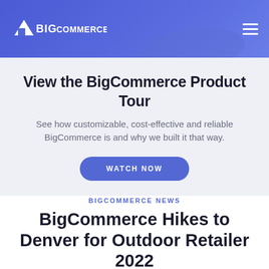BigCommerce
View the BigCommerce Product Tour
See how customizable, cost-effective and reliable BigCommerce is and why we built it that way.
WATCH NOW
BIGCOMMERCE NEWS
BigCommerce Hikes to Denver for Outdoor Retailer 2022